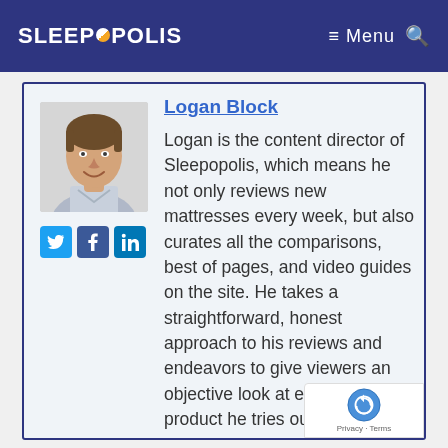SLEEPOPOLIS
[Figure (photo): Headshot of Logan Block, a smiling man in a light-colored shirt]
[Figure (infographic): Social media icons: Twitter, Facebook, LinkedIn]
Logan Block
Logan is the content director of Sleepopolis, which means he not only reviews new mattresses every week, but also curates all the comparisons, best of pages, and video guides on the site. He takes a straightforward, honest approach to his reviews and endeavors to give viewers an objective look at each new product he tries out. Logan ha perfected his method by